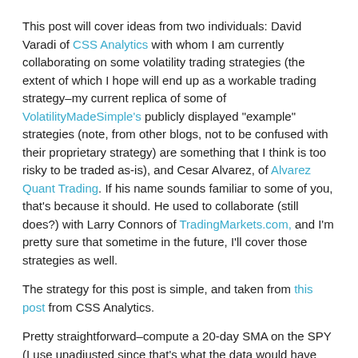This post will cover ideas from two individuals: David Varadi of CSS Analytics with whom I am currently collaborating on some volatility trading strategies (the extent of which I hope will end up as a workable trading strategy–my current replica of some of VolatilityMadeSimple's publicly displayed "example" strategies (note, from other blogs, not to be confused with their proprietary strategy) are something that I think is too risky to be traded as-is), and Cesar Alvarez, of Alvarez Quant Trading. If his name sounds familiar to some of you, that's because it should. He used to collaborate (still does?) with Larry Connors of TradingMarkets.com, and I'm pretty sure that sometime in the future, I'll cover those strategies as well.
The strategy for this post is simple, and taken from this post from CSS Analytics.
Pretty straightforward–compute a 20-day SMA on the SPY (I use unadjusted since that's what the data would have actually been). When the SPY's close crosses above the 20-day SMA, buy the high-yield bond index, either VWEHX or HYG, and when the converse happens, move to the cash-substitute security, either VFISX or SHY.
Now, while the above paragraph may make it seem that VWEHX and HYG are perfect substitutes, well, they aren't, as no two instruments